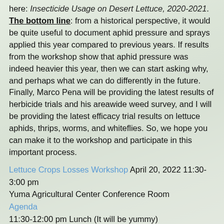here: Insecticide Usage on Desert Lettuce, 2020-2021. The bottom line: from a historical perspective, it would be quite useful to document aphid pressure and sprays applied this year compared to previous years. If results from the workshop show that aphid pressure was indeed heavier this year, then we can start asking why, and perhaps what we can do differently in the future. Finally, Marco Pena will be providing the latest results of herbicide trials and his areawide weed survey, and I will be providing the latest efficacy trial results on lettuce aphids, thrips, worms, and whiteflies. So, we hope you can make it to the workshop and participate in this important process.
Lettuce Crops Losses Workshop April 20, 2022 11:30-3:00 pm
Yuma Agricultural Center Conference Room
Agenda
11:30-12:00 pm Lunch (It will be yummy)